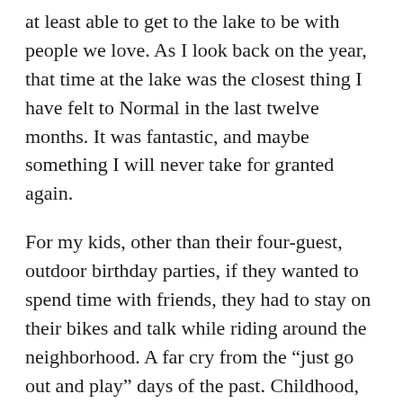at least able to get to the lake to be with people we love.  As I look back on the year, that time at the lake was the closest thing I have felt to Normal in the last twelve months.  It was fantastic, and maybe something I will never take for granted again.
For my kids, other than their four-guest, outdoor birthday parties, if they wanted to spend time with friends, they had to stay on their bikes and talk while riding around the neighborhood.  A far cry from the “just go out and play” days of the past.  Childhood, interrupted.
Despite the rolling disappointment of the muted previous seasons, Autumn came around too soon, as it always does for me.  Things like school and organized activities kind of halfway started, at least for some kids, including mine.  It was like coming into the kitchen as a full batch of cookies is coming out of the oven but only being offered a single bite.  Unsatisfying.  But it was something.  For the hampers we had